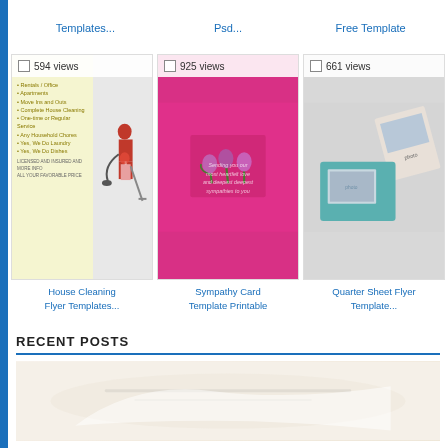Templates...
Psd...
Free Template
[Figure (photo): House cleaning flyer template thumbnail showing text list and cleaner figures, 594 views]
House Cleaning Flyer Templates...
[Figure (photo): Sympathy card template printable thumbnail showing pink tulips on pink background, 925 views]
Sympathy Card Template Printable
[Figure (photo): Quarter sheet flyer template thumbnail showing teal and photo stationery items, 661 views]
Quarter Sheet Flyer Template...
RECENT POSTS
[Figure (photo): Recent post thumbnail image showing light colored paper/stationery on white background]